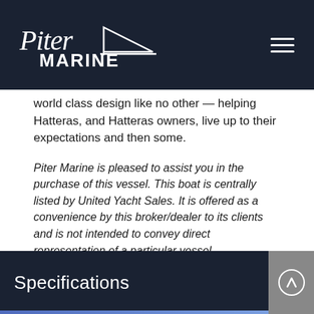Piter Marine [logo with boat/yacht graphic and hamburger menu]
world class design like no other — helping Hatteras, and Hatteras owners, live up to their expectations and then some.
Piter Marine is pleased to assist you in the purchase of this vessel. This boat is centrally listed by United Yacht Sales. It is offered as a convenience by this broker/dealer to its clients and is not intended to convey direct representation of a particular vessel
Specifications